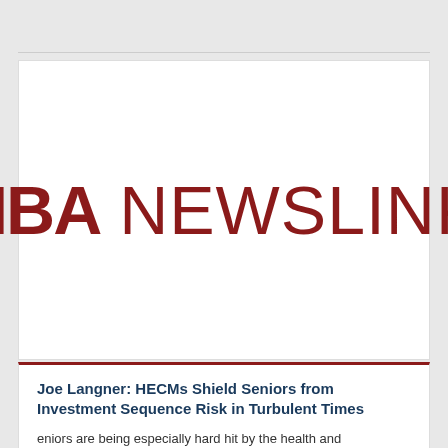[Figure (logo): MBA NEWSLINK logo in dark red/maroon color on white background]
Joe Langner: HECMs Shield Seniors from Investment Sequence Risk in Turbulent Times
eniors are being especially hard hit by the health and